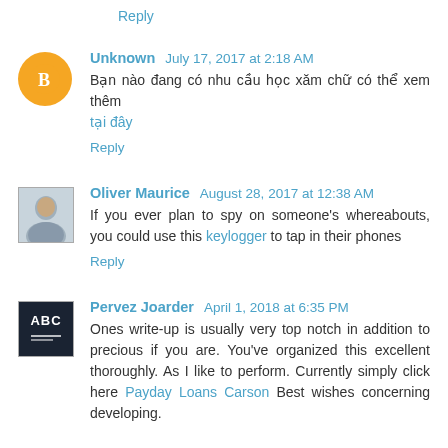Reply
Unknown July 17, 2017 at 2:18 AM
Bạn nào đang có nhu cầu học xăm chữ có thể xem thêm tại đây
Reply
Oliver Maurice August 28, 2017 at 12:38 AM
If you ever plan to spy on someone's whereabouts, you could use this keylogger to tap in their phones
Reply
Pervez Joarder April 1, 2018 at 6:35 PM
Ones write-up is usually very top notch in addition to precious if you are. You've organized this excellent thoroughly. As I like to perform. Currently simply click here Payday Loans Carson Best wishes concerning developing.